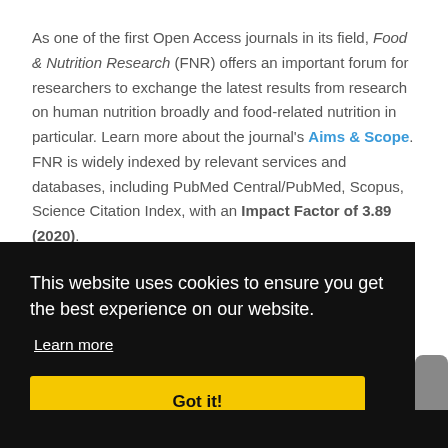As one of the first Open Access journals in its field, Food & Nutrition Research (FNR) offers an important forum for researchers to exchange the latest results from research on human nutrition broadly and food-related nutrition in particular. Learn more about the journal's Aims & Scope. FNR is widely indexed by relevant services and databases, including PubMed Central/PubMed, Scopus, Science Citation Index, with an Impact Factor of 3.89 (2020).
This website uses cookies to ensure you get the best experience on our website.
Learn more
Got it!